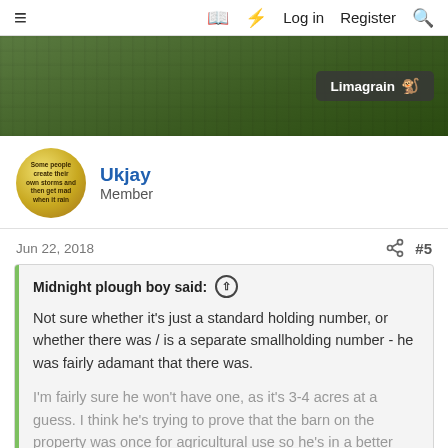≡  □  ⚡  Log in  Register  🔍
[Figure (photo): Banner image showing grass/field background with a Limagrain logo overlay in the bottom right corner]
Ukjay
Member
Jun 22, 2018  #5
Midnight plough boy said: ↑

Not sure whether it's just a standard holding number, or whether there was / is a separate smallholding number - he was fairly adamant that there was.

I'm fairly sure he won't have one, as it's 3-4 acres at a guess. I think he's trying to prove that the barn on the property was once for agricultural use so he's in a better position planning wise.

Click to expand...